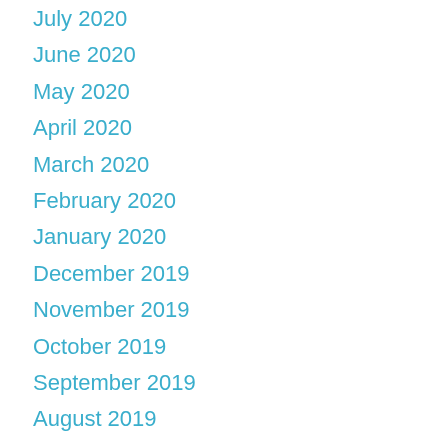July 2020
June 2020
May 2020
April 2020
March 2020
February 2020
January 2020
December 2019
November 2019
October 2019
September 2019
August 2019
June 2019
May 2019